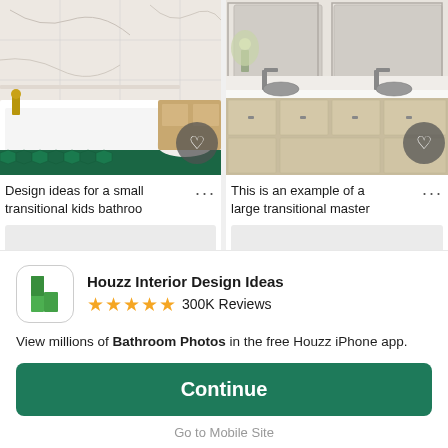[Figure (photo): Small transitional kids bathroom with marble tile, tub, toilet, and green hexagon floor tile. Brass faucet. Heart/favorite button overlay.]
[Figure (photo): Large transitional master bathroom with wide double vanity, light wood cabinets, white countertop, mirrors, grey bowls. Heart/favorite button overlay.]
Design ideas for a small transitional kids bathroo
This is an example of a large transitional master
[Figure (photo): Partially visible third bathroom photo (placeholder/loading)]
[Figure (photo): Partially visible fourth bathroom photo (placeholder/loading)]
Houzz Interior Design Ideas
★★★★★ 300K Reviews
View millions of Bathroom Photos in the free Houzz iPhone app.
Continue
Go to Mobile Site